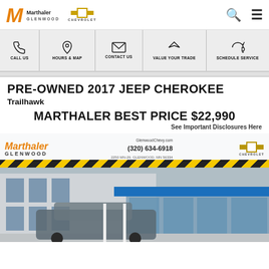Marthaler Glenwood Chevrolet
CALL US | HOURS & MAP | CONTACT US | VALUE YOUR TRADE | SCHEDULE SERVICE
PRE-OWNED 2017 JEEP CHEROKEE
Trailhawk
MARTHALER BEST PRICE $22,990
See Important Disclosures Here
[Figure (photo): Marthaler Glenwood Chevrolet dealership exterior with a vehicle parked in front. Banner shows GlenwoodChevy.com, (320) 634-6918, 2250 MN-29, Glenwood, MN 56334, Chevrolet logo. Yellow and black caution stripe below banner.]